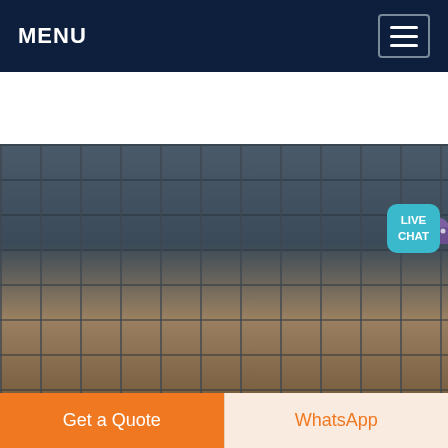MENU
[Figure (photo): Industrial warehouse interior with large gray cylindrical machinery/equipment on wheeled bases arranged in rows on a warehouse floor]
PreMarkets
· Where the stock market will trade today based on Dow Jones Industrial Average, SP 500 and Nasdaq100 futures and implied open premarket values. Commodities, currencies and .
Get a Quote
WhatsApp